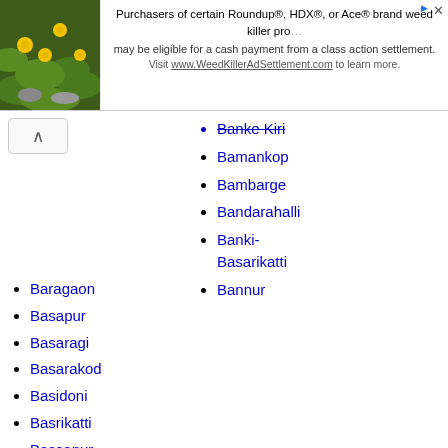[Figure (other): Advertisement banner: Purchasers of certain Roundup®, HDX®, or Ace® brand weed killer products may be eligible for a cash payment from a class action settlement. Visit www.WeedKillerAdSettlement.com to learn more. Left side shows a photo of yellow flowers on green foliage.]
Banke Kiri (partially visible, struck through)
Bamankop
Bambarge
Bandarahalli
Banki-Basarikatti
Bannur
Baragaon
Basapur
Basaragi
Basarakod
Basidoni
Basrikatti
Bassapur
Bastwad